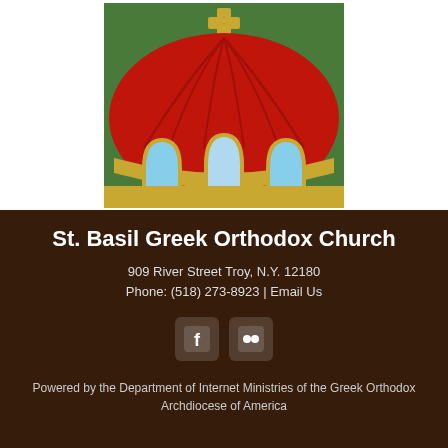[Figure (illustration): Illustration of a Greek Orthodox church dome — red dome with gold trim, three arched windows with light blue glass, gold cross at top, green background with light glow effect.]
St. Basil Greek Orthodox Church
909 River Street Troy, N.Y. 12180
Phone: (518) 273-8923 | Email Us
[Figure (logo): Facebook icon and Flickr icon displayed as white rounded square social media icons.]
Powered by the Department of Internet Ministries of the Greek Orthodox Archdiocese of America